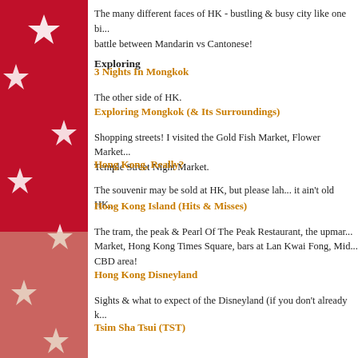The many different faces of HK - bustling & busy city like one bi... battle between Mandarin vs Cantonese!
Exploring
3 Nights In Mongkok
The other side of HK.
Exploring Mongkok (& Its Surroundings)
Shopping streets! I visited the Gold Fish Market, Flower Market... Temple Street Night Market.
Hong Kong, Really?
The souvenir may be sold at HK, but please lah... it ain't old HK...
Hong Kong Island (Hits & Misses)
The tram, the peak & Pearl Of The Peak Restaurant, the upmar... Market, Hong Kong Times Square, bars at Lan Kwai Fong, Mid... CBD area!
Hong Kong Disneyland
Sights & what to expect of the Disneyland (if you don't already k...
Tsim Sha Tsui (TST)